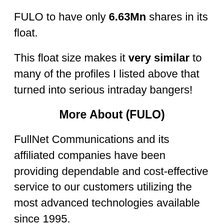FULO to have only 6.63Mn shares in its float.
This float size makes it very similar to many of the profiles I listed above that turned into serious intraday bangers!
More About (FULO)
FullNet Communications and its affiliated companies have been providing dependable and cost-effective service to our customers utilizing the most advanced technologies available since 1995.
Through their subsidiaries, they provide group text and voice message delivery services, equipment colocation, web hosting, customized live help desk outsourcing services, and advanced voice and data solutions including high quality, reliable and scalable Internet access. Their customers are located throughout the United States and more than 40...